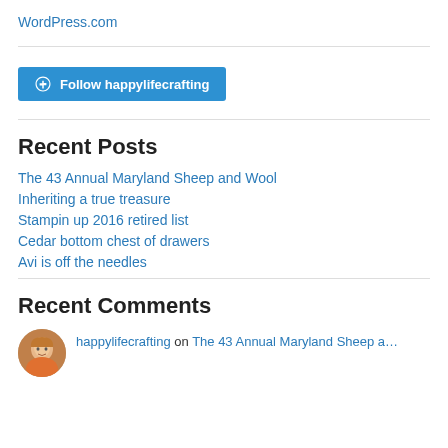WordPress.com
[Figure (other): Follow happylifecrafting button with WordPress logo]
Recent Posts
The 43 Annual Maryland Sheep and Wool
Inheriting  a true treasure
Stampin up 2016 retired list
Cedar bottom chest of drawers
Avi is off the needles
Recent Comments
happylifecrafting on The 43 Annual Maryland Sheep a…